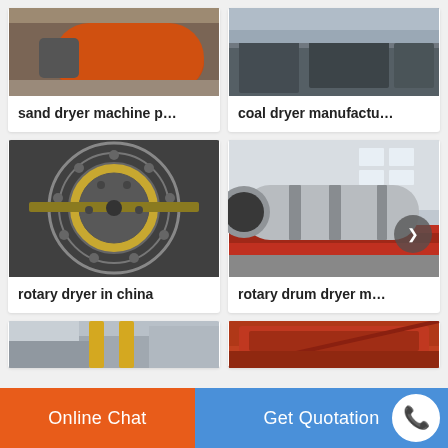[Figure (photo): Sand dryer machine - orange cylindrical drum in industrial setting]
sand dryer machine p…
[Figure (photo): Coal dryer manufacturer - industrial machinery with conveyor]
coal dryer manufactu…
[Figure (photo): Rotary dryer in China - close-up of circular mechanical components]
rotary dryer in china
[Figure (photo): Rotary drum dryer - large cylindrical drum on truck flatbed in warehouse]
rotary drum dryer m…
[Figure (photo): Industrial dryer equipment partially visible - bottom row left]
[Figure (photo): Industrial dryer equipment partially visible - bottom row right]
Online Chat
Get Quotation